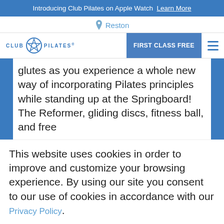Introducing Club Pilates on Apple Watch  Learn More
Reston
[Figure (logo): Club Pilates logo with star emblem]
FIRST CLASS FREE
glutes as you experience a whole new way of incorporating Pilates principles while standing up at the Springboard! The Reformer, gliding discs, fitness ball, and free
This website uses cookies in order to improve and customize your browsing experience. By using our site you consent to our use of cookies in accordance with our Privacy Policy.
Accept